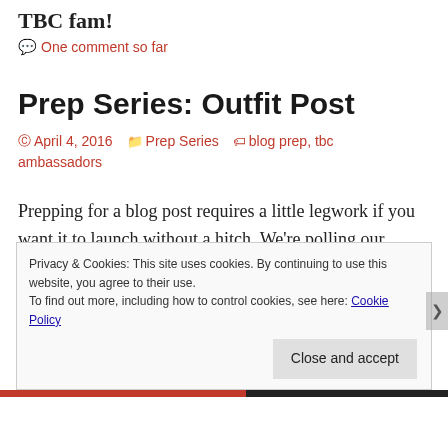TBC fam!
One comment so far
Prep Series: Outfit Post
April 4, 2016   Prep Series   blog prep, tbc ambassadors
Prepping for a blog post requires a little legwork if you want it to launch without a hitch. We're polling our ambassadors + TBC members to see how they get organized and prepared for the most popular types of blog
Privacy & Cookies: This site uses cookies. By continuing to use this website, you agree to their use.
To find out more, including how to control cookies, see here: Cookie Policy
Close and accept